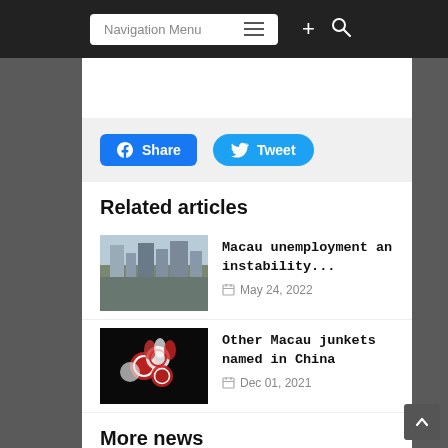Navigation Menu
[Figure (illustration): Facebook Share button (blue rounded rectangle) and Twitter Tweet button (cyan pill shape)]
Related articles
[Figure (photo): Aerial view of Macau city skyline with dense urban buildings]
Macau unemployment an instability...
May 24, 2022
[Figure (photo): Casino chips and dice on black background]
Other Macau junkets named in China
Dec 01, 2021
More news
[Figure (photo): Okada Manila building exterior with red Okada logo]
Okada Manila occupation not overturned,...